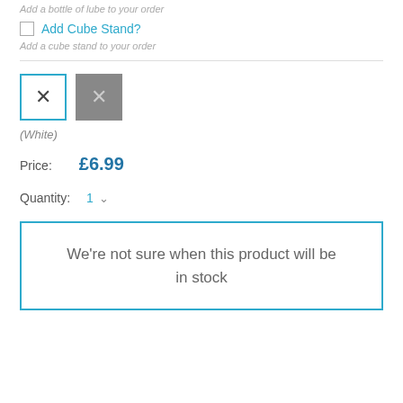Add a bottle of lube to your order
Add Cube Stand?
Add a cube stand to your order
[Figure (other): Two color swatch buttons: white selected (blue border with X), gray unselected (gray background with X)]
(White)
Price: £6.99
Quantity: 1
We're not sure when this product will be in stock